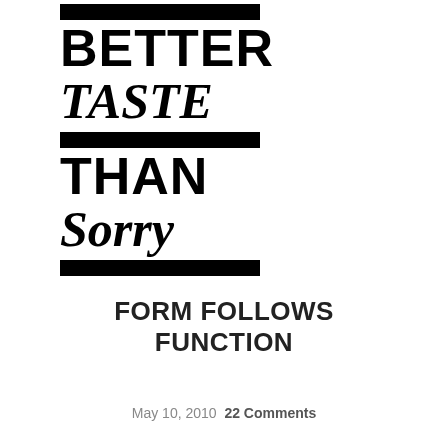[Figure (logo): Better Taste Than Sorry logo — stylized text with black horizontal bars separating the words BETTER, TASTE, THAN, SORRY. TASTE and SORRY are in a handwritten/script style, BETTER and THAN are in bold sans-serif.]
FORM FOLLOWS FUNCTION
May 10, 2010  22 Comments